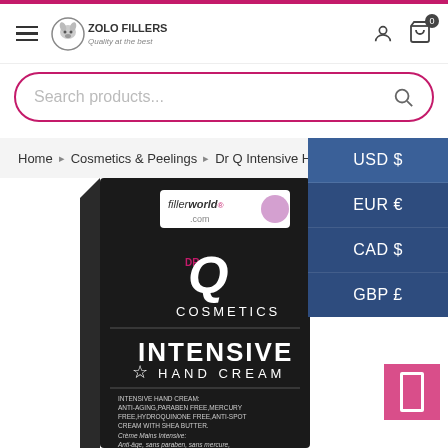ZOLO FILLERS - Quality at the best
Search products...
Home > Cosmetics & Peelings > Dr Q Intensive Hand
USD $
EUR €
CAD $
GBP £
[Figure (photo): Dr Q Cosmetics Intensive Hand Cream product box, black packaging with fillerworld.com logo, DR Q COSMETICS branding, 'INTENSIVE HAND CREAM' text, anti-aging paraben free mercury free hydroquinone free anti-spot cream with shea butter description in English and French]